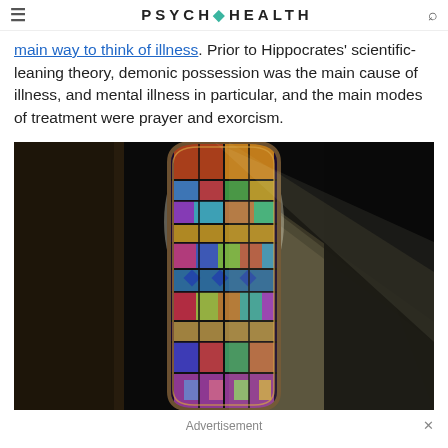PSYCH HEALTH
main way to think of illness. Prior to Hippocrates' scientific-leaning theory, demonic possession was the main cause of illness, and mental illness in particular, and the main modes of treatment were prayer and exorcism.
[Figure (photo): Stained glass church window with light rays streaming through in a dark setting]
Advertisement